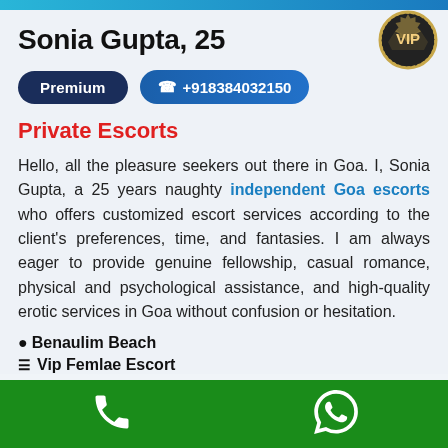Sonia Gupta, 25
Premium  +918384032150
Private Escorts
Hello, all the pleasure seekers out there in Goa. I, Sonia Gupta, a 25 years naughty independent Goa escorts who offers customized escort services according to the client's preferences, time, and fantasies. I am always eager to provide genuine fellowship, casual romance, physical and psychological assistance, and high-quality erotic services in Goa without confusion or hesitation.
Benaulim Beach
Vip Femlae Escort